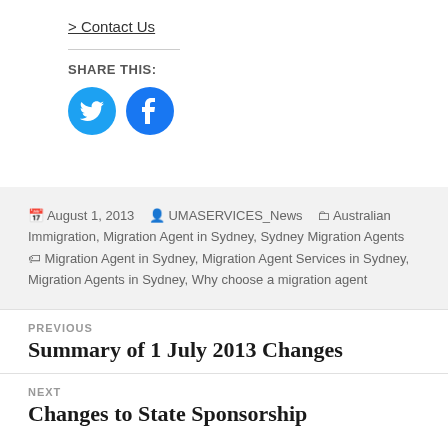> Contact Us
SHARE THIS:
[Figure (illustration): Twitter and Facebook social sharing icon buttons (blue circles)]
August 1, 2013  UMASERVICES_News  Australian Immigration, Migration Agent in Sydney, Sydney Migration Agents  Migration Agent in Sydney, Migration Agent Services in Sydney, Migration Agents in Sydney, Why choose a migration agent
PREVIOUS
Summary of 1 July 2013 Changes
NEXT
Changes to State Sponsorship